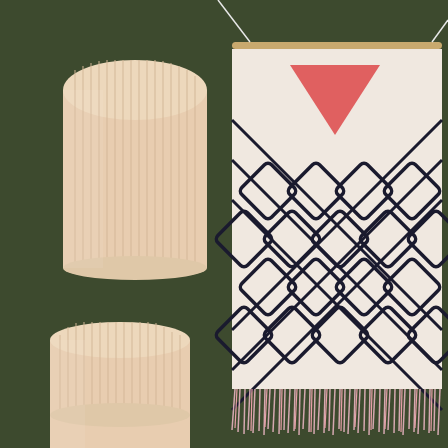[Figure (photo): Interior home decor photo showing two ribbed half-cylinder light sconces made of pale pink/blush wood mounted on a dark olive green wall on the left side, and a decorative woven wall hanging tapestry on the right side. The tapestry is white/cream with a bold black geometric diamond pattern and a coral/salmon colored downward-pointing triangle near the top. The tapestry is hung from a wooden dowel with a thin white string against the green wall, and has pink and white fringe along the bottom edge.]